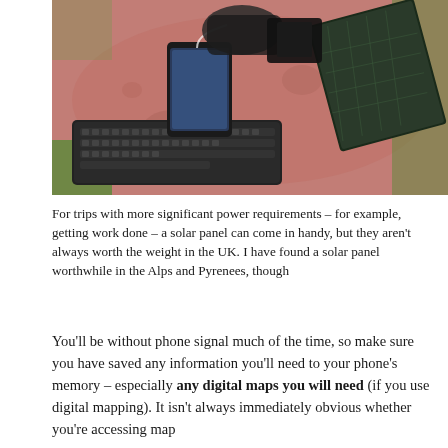[Figure (photo): Photograph of a pink/red stone table outdoors with a black Bluetooth keyboard, a smartphone, a solar panel propped up, and accessories including gloves and a camera bag, with green grass in the background.]
For trips with more significant power requirements – for example, getting work done – a solar panel can come in handy, but they aren't always worth the weight in the UK. I have found a solar panel worthwhile in the Alps and Pyrenees, though
You'll be without phone signal much of the time, so make sure you have saved any information you'll need to your phone's memory – especially any digital maps you will need (if you use digital mapping). It isn't always immediately obvious whether you're accessing map